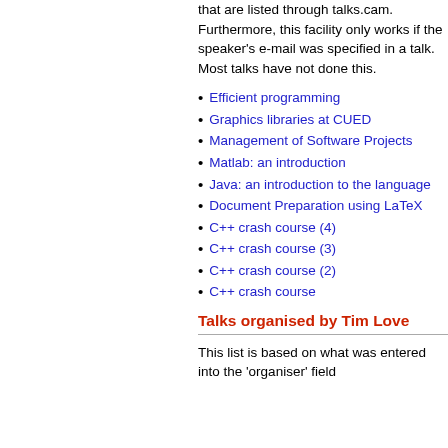that are listed through talks.cam. Furthermore, this facility only works if the speaker's e-mail was specified in a talk. Most talks have not done this.
Efficient programming
Graphics libraries at CUED
Management of Software Projects
Matlab: an introduction
Java: an introduction to the language
Document Preparation using LaTeX
C++ crash course (4)
C++ crash course (3)
C++ crash course (2)
C++ crash course
Talks organised by Tim Love
This list is based on what was entered into the 'organiser' field